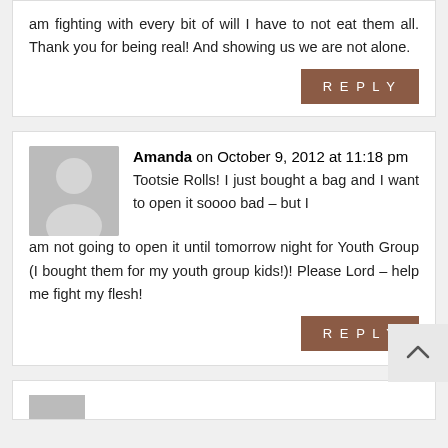am fighting with every bit of will I have to not eat them all. Thank you for being real! And showing us we are not alone.
REPLY
Amanda on October 9, 2012 at 11:18 pm
Tootsie Rolls! I just bought a bag and I want to open it soooo bad – but I am not going to open it until tomorrow night for Youth Group (I bought them for my youth group kids!)! Please Lord – help me fight my flesh!
REPLY